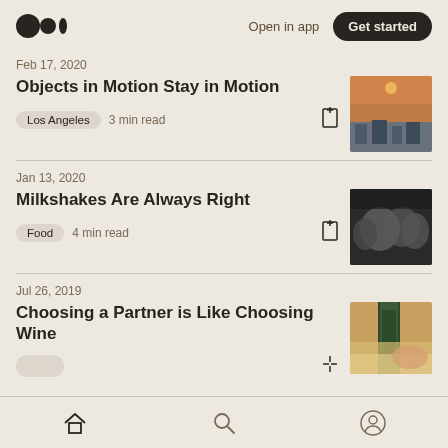Open in app | Get started
Feb 17, 2020
Objects in Motion Stay in Motion
Los Angeles  3 min read
Jan 13, 2020
Milkshakes Are Always Right
Food  4 min read
Jul 26, 2019
Choosing a Partner is Like Choosing Wine
home  search  profile